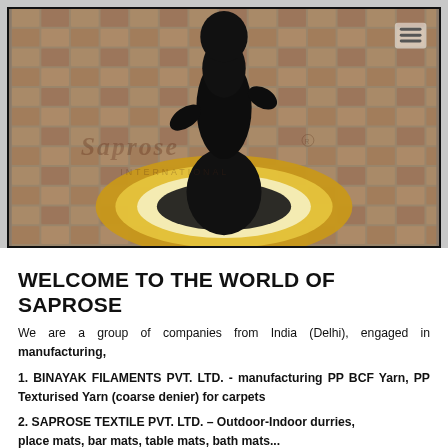[Figure (photo): A black decorative statue (Ganesha-like figure) placed on a round golden/jute braided rug/mat, set on a wooden parquet floor. The Saprose brand watermark is visible overlaid on the photo. A hamburger menu icon is visible in the upper right corner.]
WELCOME TO THE WORLD OF SAPROSE
We are a group of companies from India (Delhi), engaged in manufacturing,
1. BINAYAK FILAMENTS PVT. LTD.  -  manufacturing PP BCF Yarn, PP Texturised Yarn (coarse denier) for carpets
2.  SAPROSE  TEXTILE  PVT.  LTD.  – Outdoor-Indoor durries, place mats, bar mats, table mats, bath mats...